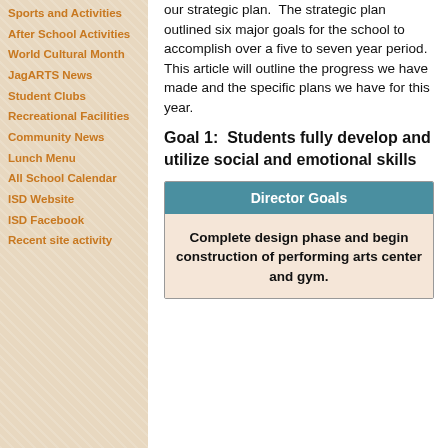Sports and Activities
After School Activities
World Cultural Month
JagARTS News
Student Clubs
Recreational Facilities
Community News
Lunch Menu
All School Calendar
ISD Website
ISD Facebook
Recent site activity
our strategic plan.  The strategic plan outlined six major goals for the school to accomplish over a five to seven year period.  This article will outline the progress we have made and the specific plans we have for this year.
Goal 1:  Students fully develop and utilize social and emotional skills
[Figure (other): Director Goals box with teal header and peach body containing text: Complete design phase and begin construction of performing arts center and gym.]